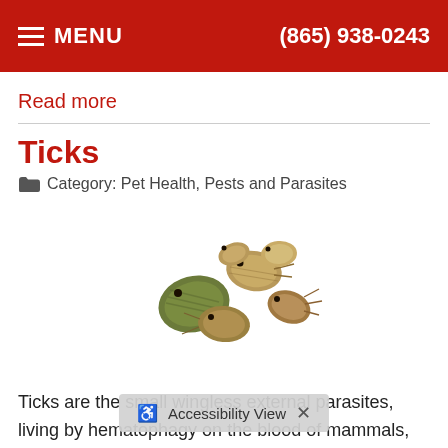MENU   (865) 938-0243
Read more
Ticks
Category: Pet Health, Pests and Parasites
[Figure (photo): A group of ticks photographed on a white background, showing several brown/olive-colored tick bodies of varying sizes clustered together.]
Ticks are the small wingless external parasites, living by hematophagy on the blood of mammals, birds, and occasionally reptiles and amphibians. Ticks are blood-sucking parasites that are often found in freshly mown grass, w... mselves